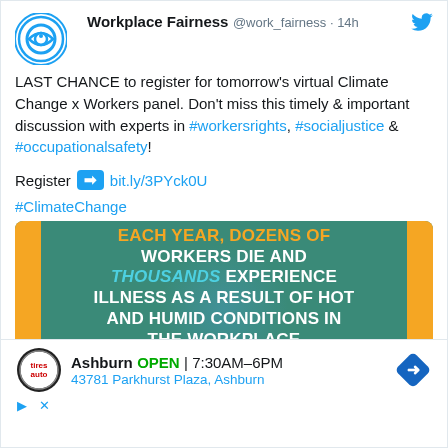Workplace Fairness @work_fairness · 14h
LAST CHANCE to register for tomorrow's virtual Climate Change x Workers panel. Don't miss this timely & important discussion with experts in #workersrights, #socialjustice & #occupationalsafety!
Register ➡ bit.ly/3PYck0U
#ClimateChange
[Figure (infographic): Teal background with orange side bars. Text reads: EACH YEAR, DOZENS OF WORKERS DIE AND THOUSANDS EXPERIENCE ILLNESS AS A RESULT OF HOT AND HUMID CONDITIONS IN THE WORKPLACE]
Ashburn OPEN 7:30AM–6PM 43781 Parkhurst Plaza, Ashburn